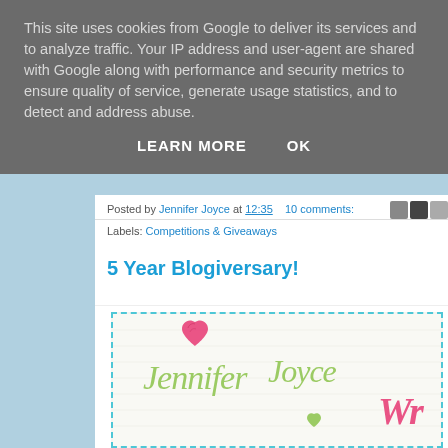This site uses cookies from Google to deliver its services and to analyze traffic. Your IP address and user-agent are shared with Google along with performance and security metrics to ensure quality of service, generate usage statistics, and to detect and address abuse.
LEARN MORE    OK
Posted by Jennifer Joyce at 12:35   10 comments:
Labels: Competitions & Giveaways
5 Year Blogiversary!
[Figure (illustration): Blog header image showing handwritten-style text 'Jennifer Joyce' in green with decorative hearts in pink and green, and partial text 'Wr' in pink on a textured white background with dashed teal border]